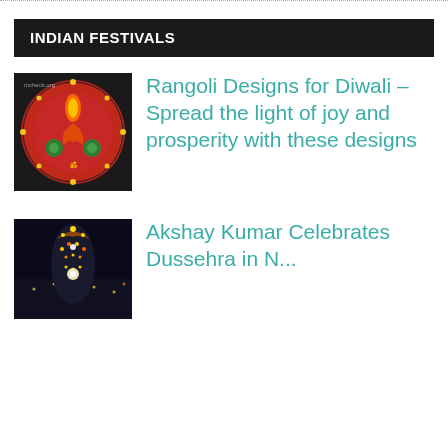INDIAN FESTIVALS
[Figure (photo): Circular rangoli design with red background, decorative lights, and traditional patterns]
Rangoli Designs for Diwali – Spread the light of joy and prosperity with these designs
[Figure (photo): Performer in elaborate costume with lights at a festival celebration, likely Diwali related]
Akshay Kumar Celebrates Dussehra in N...